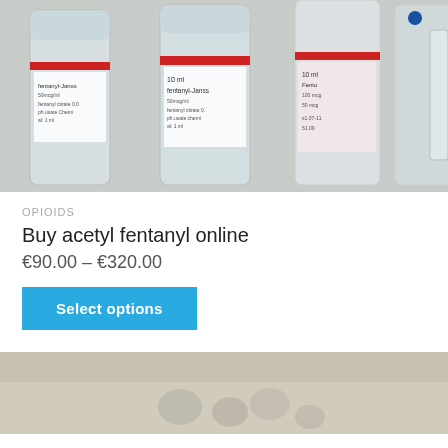[Figure (photo): Close-up photo of multiple glass vials labeled 'fentanyl-Janssen' and '10 ml Fentanyl' with red caps and printed labels, arranged together.]
OPIOIDS
Buy acetyl fentanyl online
€90.00 – €320.00
Select options
[Figure (photo): Partial bottom photo showing a blurred surface with small round objects, possibly pills or coins.]